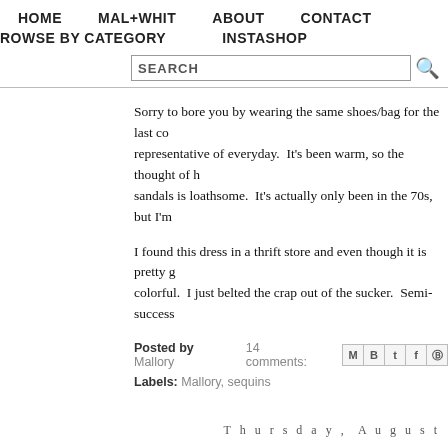HOME   MAL+WHIT   ABOUT   CONTACT
ROWSE BY CATEGORY   INSTASHOP
SEARCH
Sorry to bore you by wearing the same shoes/bag for the last co representative of everyday.  It's been warm, so the thought of h sandals is loathsome.  It's actually only been in the 70s, but I'm
I found this dress in a thrift store and even though it is pretty g colorful.  I just belted the crap out of the sucker.  Semi-success
Posted by Mallory   14 comments:
Labels: Mallory, sequins
Thursday, August
Easy Bree